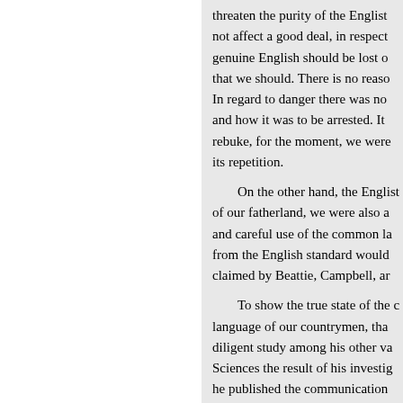threaten the purity of the English... not affect a good deal, in respect... genuine English should be lost o... that we should. There is no reaso... In regard to danger there was no... and how it was to be arrested. It... rebuke, for the moment, we were... its repetition.

On the other hand, the English... of our fatherland, we were also a... and careful use of the common la... from the English standard would... claimed by Beattie, Campbell, ar...

To show the true state of the c... language of our countrymen, tha... diligent study among his other va... Sciences the result of his investig... he published the communication... “A Vocabulary, or Collection of V... States of America : to which is p... States."
« Zurück